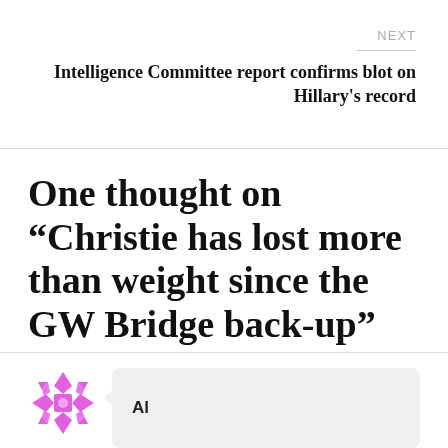NEXT
Intelligence Committee report confirms blot on Hillary's record
One thought on “Christie has lost more than weight since the GW Bridge back-up”
Al